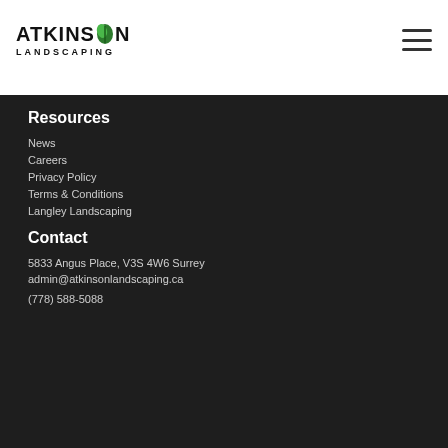[Figure (logo): Atkinson Landscaping logo with leaf icon and bold text]
[Figure (illustration): Hamburger menu icon (three horizontal lines)]
Resources
News
Careers
Privacy Policy
Terms & Conditions
Langley Landscaping
Contact
5833 Angus Place, V3S 4W6 Surrey
admin@atkinsonlandscaping.ca
(778) 588-5088